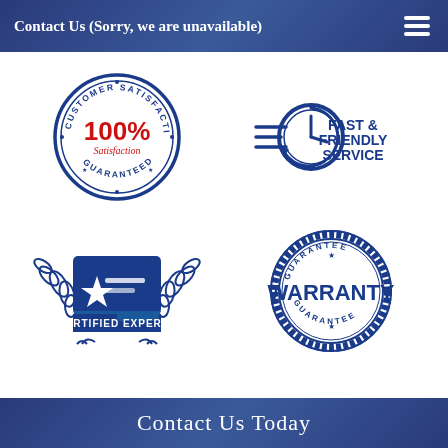Contact Us (Sorry, we are unavailable)
[Figure (logo): Customer Satisfaction 100% Satisfaction Guaranteed circular badge/seal in blue and red]
[Figure (logo): Fast & Friendly Service badge with clock icon and speed lines in blue]
[Figure (logo): Certified Experts badge with star ribbon and laurel wreath in blue]
[Figure (logo): Guarantee Warranty circular stamp seal in blue]
Contact Us Today